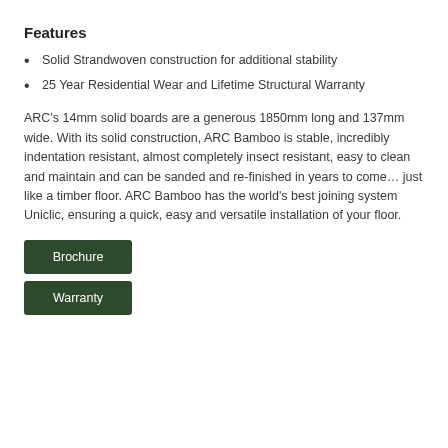Features
Solid Strandwoven construction for additional stability
25 Year Residential Wear and Lifetime Structural Warranty
ARC's 14mm solid boards are a generous 1850mm long and 137mm wide. With its solid construction, ARC Bamboo is stable, incredibly indentation resistant, almost completely insect resistant, easy to clean and maintain and can be sanded and re-finished in years to come… just like a timber floor. ARC Bamboo has the world's best joining system Uniclic, ensuring a quick, easy and versatile installation of your floor.
Brochure
Warranty